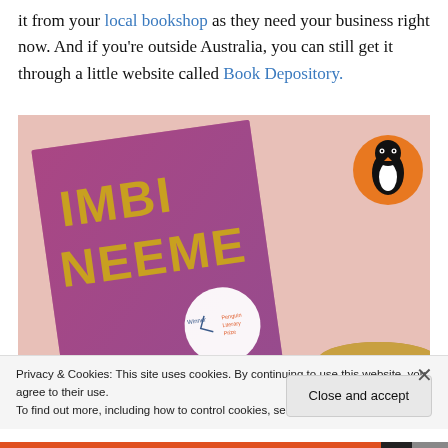it from your local bookshop as they need your business right now. And if you're outside Australia, you can still get it through a little website called Book Depository.
[Figure (photo): Photo of a pink book cover with the title IMBI NEEME in gold letters, along with a Penguin Literary Prize badge. The book is shown on a pink background next to a cup of tea, with a Penguin Books logo in the upper right.]
Privacy & Cookies: This site uses cookies. By continuing to use this website, you agree to their use. To find out more, including how to control cookies, see here: Cookie Policy